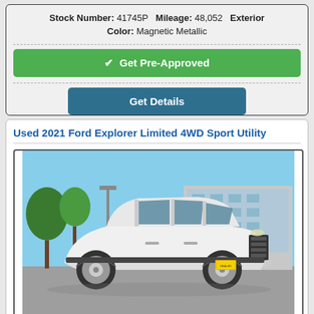Stock Number: 41745P  Mileage: 48,052  Exterior Color: Magnetic Metallic
✔ Get Pre-Approved
Get Details
Used 2021 Ford Explorer Limited 4WD Sport Utility
[Figure (photo): White 2021 Ford Explorer Limited 4WD Sport Utility parked in a dealership lot with trees and a modern building in the background.]